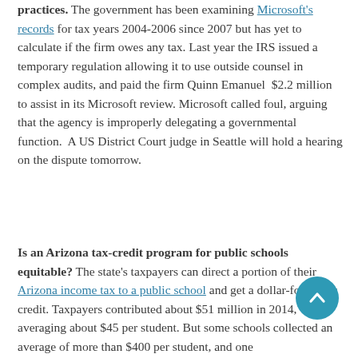practices. The government has been examining Microsoft's records for tax years 2004-2006 since 2007 but has yet to calculate if the firm owes any tax. Last year the IRS issued a temporary regulation allowing it to use outside counsel in complex audits, and paid the firm Quinn Emanuel $2.2 million to assist in its Microsoft review. Microsoft called foul, arguing that the agency is improperly delegating a governmental function. A US District Court judge in Seattle will hold a hearing on the dispute tomorrow.
Is an Arizona tax-credit program for public schools equitable? The state's taxpayers can direct a portion of their Arizona income tax to a public school and get a dollar-for-dollar credit. Taxpayers contributed about $51 million in 2014, averaging about $45 per student. But some schools collected an average of more than $400 per student, and one